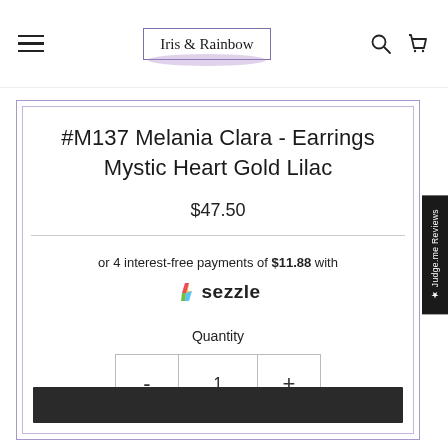Iris & Rainbow
#M137 Melania Clara - Earrings Mystic Heart Gold Lilac
$47.50
or 4 interest-free payments of $11.88 with sezzle
Quantity
1